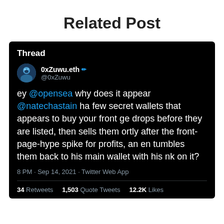Related Post
[Figure (screenshot): A screenshot of a Twitter thread post by 0xZuwu.eth (@0xZuwu) asking why @opensea's @natechastain appears to have secret wallets that buy front page drops before they are listed, then sells them shortly after the front-page-hype spike for profits, and tumbles them back to his main wallet. Posted at 8 PM on Sep 14, 2021 via Twitter Web App. 34 Retweets, 1,503 Quote Tweets, 12.2K Likes.]